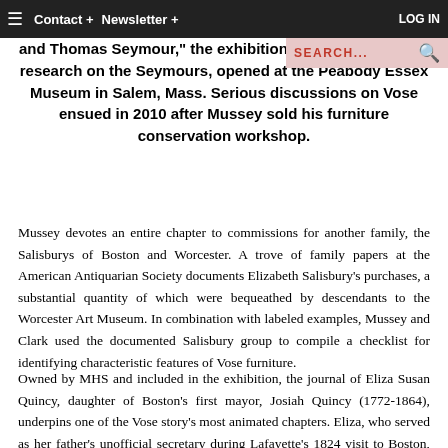Contact + Newsletter + LOG IN | SEARCH...
and Thomas Seymour," the exhibition based on Mussey's research on the Seymours, opened at the Peabody Essex Museum in Salem, Mass. Serious discussions on Vose ensued in 2010 after Mussey sold his furniture conservation workshop.
Mussey devotes an entire chapter to commissions for another family, the Salisburys of Boston and Worcester. A trove of family papers at the American Antiquarian Society documents Elizabeth Salisbury's purchases, a substantial quantity of which were bequeathed by descendants to the Worcester Art Museum. In combination with labeled examples, Mussey and Clark used the documented Salisbury group to compile a checklist for identifying characteristic features of Vose furniture.
Owned by MHS and included in the exhibition, the journal of Eliza Susan Quincy, daughter of Boston's first mayor, Josiah Quincy (1772-1864), underpins one of the Vose story's most animated chapters. Eliza, who served as her father's unofficial secretary during Lafayette's 1824 visit to Boston, offers a detailed account of the social